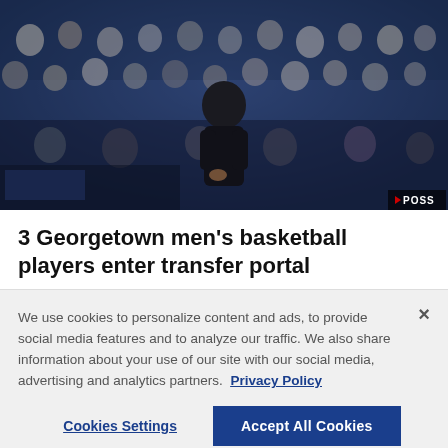[Figure (photo): Basketball coach in dark clothing standing on sideline during a game, with crowd of spectators in blue arena seating visible in background. POSS badge visible bottom right.]
3 Georgetown men's basketball players enter transfer portal
We use cookies to personalize content and ads, to provide social media features and to analyze our traffic. We also share information about your use of our site with our social media, advertising and analytics partners. Privacy Policy
Cookies Settings
Accept All Cookies